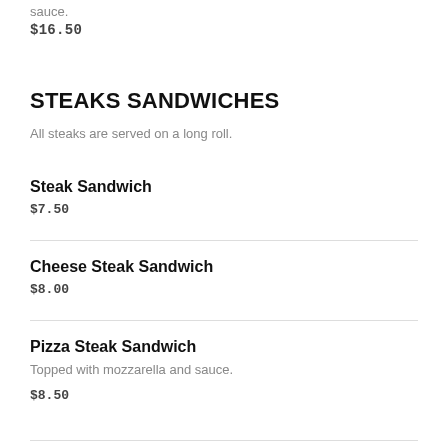sauce.
$16.50
STEAKS SANDWICHES
All steaks are served on a long roll.
Steak Sandwich
$7.50
Cheese Steak Sandwich
$8.00
Pizza Steak Sandwich
Topped with mozzarella and sauce.
$8.50